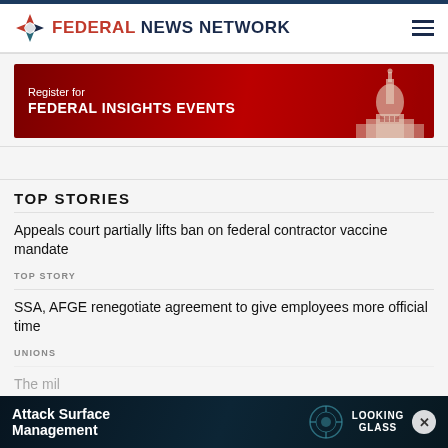FEDERAL NEWS NETWORK
[Figure (infographic): Red banner advertisement: Register for FEDERAL INSIGHTS EVENTS with Capitol building silhouette on right]
TOP STORIES
Appeals court partially lifts ban on federal contractor vaccine mandate
TOP STORY
SSA, AFGE renegotiate agreement to give employees more official time
UNIONS
The mil
DEFENSE
[Figure (infographic): Dark blue advertisement: Attack Surface Management with LookingGlass logo and gear/network imagery]